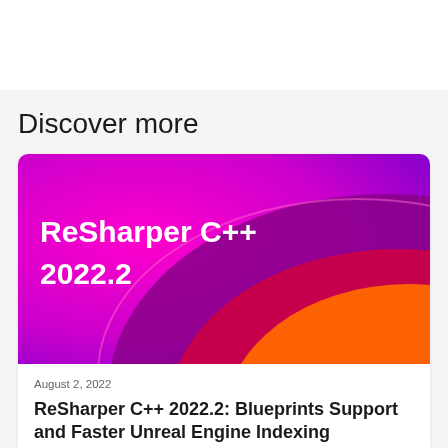Discover more
[Figure (illustration): ReSharper C++ 2022.2 promotional banner with magenta/purple gradient background and orange/pink curved shapes, white text reading 'ReSharper C++ 2022.2']
August 2, 2022
ReSharper C++ 2022.2: Blueprints Support and Faster Unreal Engine Indexing